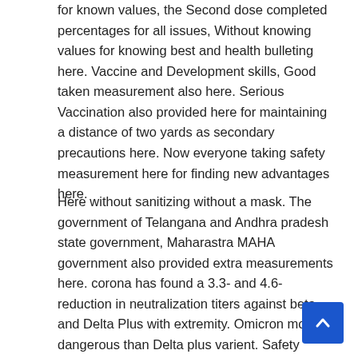for known values, the Second dose completed percentages for all issues, Without knowing values for knowing best and health bulleting here. Vaccine and Development skills, Good taken measurement also here. Serious Vaccination also provided here for maintaining a distance of two yards as secondary precautions here. Now everyone taking safety measurement here for finding new advantages here.
Here without sanitizing without a mask. The government of Telangana and Andhra pradesh state government, Maharastra MAHA government also provided extra measurements here. corona has found a 3.3- and 4.6-reduction in neutralization titers against beta and Delta Plus with extremity. Omicron more dangerous than Delta plus varient. Safety measurement only have one only changes to computing and calculting our safe zone.